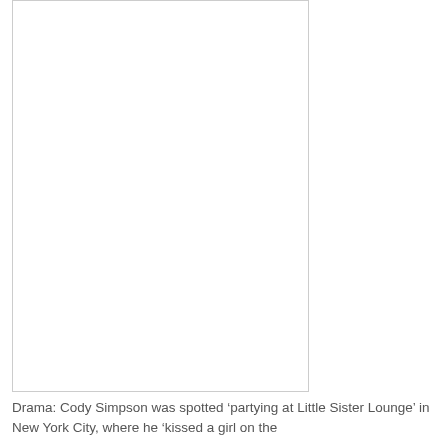[Figure (photo): A blank/white image placeholder with a light gray border, occupying the upper-left portion of the page]
Drama: Cody Simpson was spotted ‘partying at Little Sister Lounge’ in New York City, where he ‘kissed a girl on the